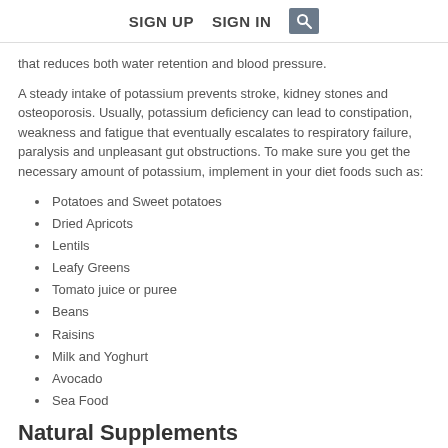SIGN UP   SIGN IN   [search icon]
that reduces both water retention and blood pressure.
A steady intake of potassium prevents stroke, kidney stones and osteoporosis. Usually, potassium deficiency can lead to constipation, weakness and fatigue that eventually escalates to respiratory failure, paralysis and unpleasant gut obstructions. To make sure you get the necessary amount of potassium, implement in your diet foods such as:
Potatoes and Sweet potatoes
Dried Apricots
Lentils
Leafy Greens
Tomato juice or puree
Beans
Raisins
Milk and Yoghurt
Avocado
Sea Food
Natural Supplements
For those who enjoy and appreciate the benefits plants brought in